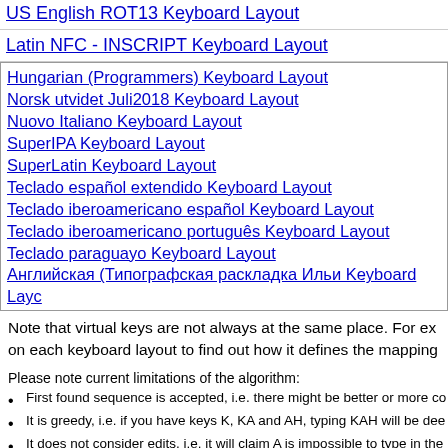US English ROT13 Keyboard Layout
Latin NFC - INSCRIPT Keyboard Layout
Hungarian (Programmers) Keyboard Layout
Norsk utvidet Juli2018 Keyboard Layout
Nuovo Italiano Keyboard Layout
SuperIPA Keyboard Layout
SuperLatin Keyboard Layout
Teclado español extendido Keyboard Layout
Teclado iberoamericano español Keyboard Layout
Teclado iberoamericano português Keyboard Layout
Teclado paraguayo Keyboard Layout
Английская (Типографская раскладка Ильи Keyboard Layout
Note that virtual keys are not always at the same place. For ex on each keyboard layout to find out how it defines the mapping
Please note current limitations of the algorithm:
First found sequence is accepted, i.e. there might be better or more co
It is greedy, i.e. if you have keys K, KA and AH, typing KAH will be dee
It does not consider edits, i.e. it will claim A is impossible to type in the
It does not combine dead keys with ligatures, i.e. if you had ˜ + C = Č
It does not consider normalization equivalence, i.e. composite Ó cann